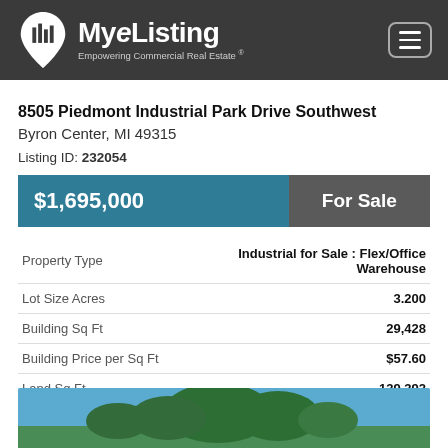MyeListing — Empowering Commercial Real Estate
8505 Piedmont Industrial Park Drive Southwest
Byron Center, MI 49315
Listing ID: 232054
|  |  |
| --- | --- |
| $1,695,000 | For Sale |
| Property Type | Industrial for Sale : Flex/Office Warehouse |
| Lot Size Acres | 3.200 |
| Building Sq Ft | 29,428 |
| Building Price per Sq Ft | $57.60 |
| Land Sq Ft | 139,392 |
| Land Price per Sq Ft | $12.16 |
[Figure (photo): Exterior photo of the industrial property with trees and blue sky visible]